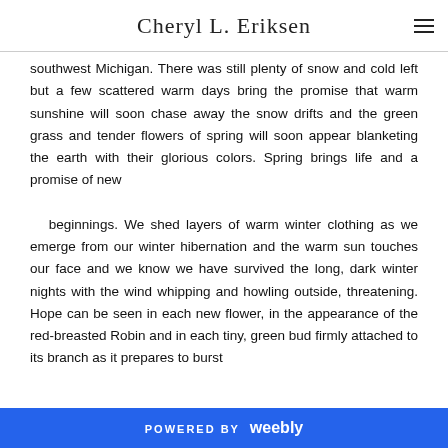Cheryl L. Eriksen
southwest Michigan. There was still plenty of snow and cold left but a few scattered warm days bring the promise that warm sunshine will soon chase away the snow drifts and the green grass and tender flowers of spring will soon appear blanketing the earth with their glorious colors. Spring brings life and a promise of new

   beginnings. We shed layers of warm winter clothing as we emerge from our winter hibernation and the warm sun touches our face and we know we have survived the long, dark winter nights with the wind whipping and howling outside, threatening. Hope can be seen in each new flower, in the appearance of the red-breasted Robin and in each tiny, green bud firmly attached to its branch as it prepares to burst
POWERED BY weebly